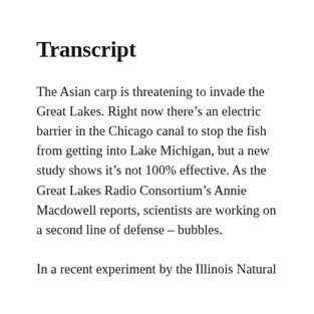Transcript
The Asian carp is threatening to invade the Great Lakes. Right now there’s an electric barrier in the Chicago canal to stop the fish from getting into Lake Michigan, but a new study shows it’s not 100% effective. As the Great Lakes Radio Consortium’s Annie Macdowell reports, scientists are working on a second line of defense – bubbles.
In a recent experiment by the Illinois Natural